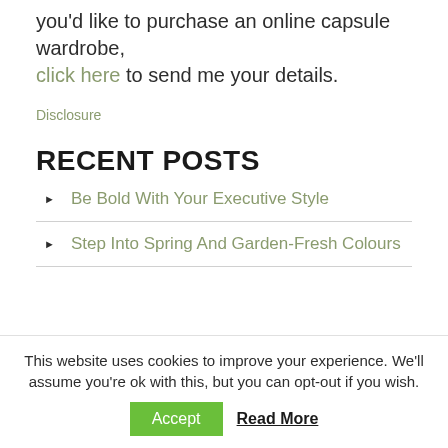you'd like to purchase an online capsule wardrobe, click here to send me your details.
Disclosure
RECENT POSTS
Be Bold With Your Executive Style
Step Into Spring And Garden-Fresh Colours
This website uses cookies to improve your experience. We'll assume you're ok with this, but you can opt-out if you wish.
Accept  Read More